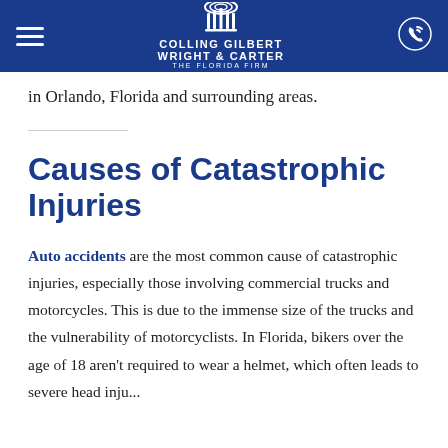Colling Gilbert Wright & Carter — The Florida Firm
in Orlando, Florida and surrounding areas.
Causes of Catastrophic Injuries
Auto accidents are the most common cause of catastrophic injuries, especially those involving commercial trucks and motorcycles. This is due to the immense size of the trucks and the vulnerability of motorcyclists. In Florida, bikers over the age of 18 aren't required to wear a helmet, which often leads to severe head injuries.